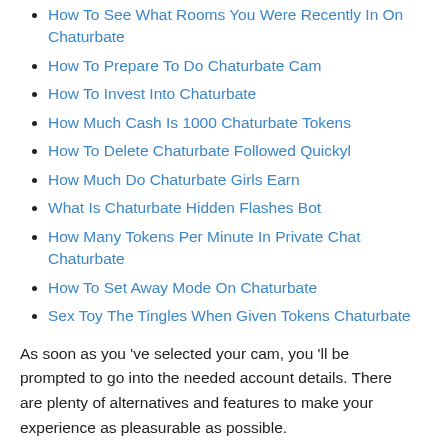How To See What Rooms You Were Recently In On Chaturbate
How To Prepare To Do Chaturbate Cam
How To Invest Into Chaturbate
How Much Cash Is 1000 Chaturbate Tokens
How To Delete Chaturbate Followed Quickyl
How Much Do Chaturbate Girls Earn
What Is Chaturbate Hidden Flashes Bot
How Many Tokens Per Minute In Private Chat Chaturbate
How To Set Away Mode On Chaturbate
Sex Toy The Tingles When Given Tokens Chaturbate
As soon as you 've selected your cam, you 'll be prompted to go into the needed account details. There are plenty of alternatives and features to make your experience as pleasurable as possible.
As a user, you can select which of the hundreds of designs you want to chat with. Chaturbate provides an incredible amount of